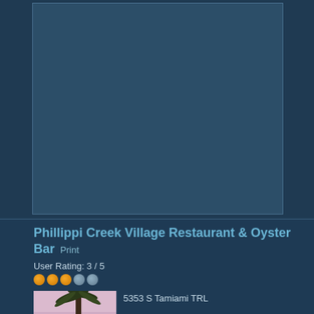[Figure (other): Large rectangular advertisement or image placeholder box with dark blue background at top of page]
Phillippi Creek Village Restaurant & Oyster Bar  Print
User Rating: 3 / 5
[Figure (photo): Photo of Phillippi Creek Village Restaurant exterior at dusk/evening, showing waterfront building with palm trees and reflections in water]
5353 S Tamiami TRL
Sarasota, FL 34231
(941) 925-4444
Website